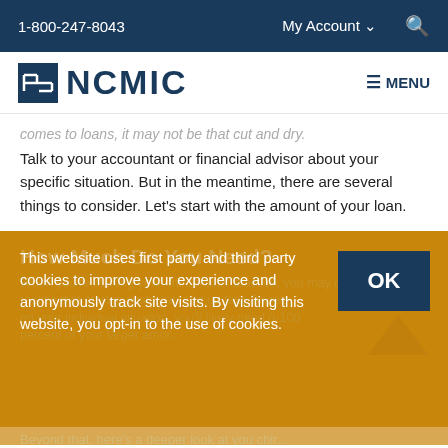1-800-247-8043   My Account   [search]
[Figure (logo): NCMIC logo with icon and text, plus MENU button]
...comes to loans, it may not be that cut and dry. Talk to your accountant or financial advisor about your specific situation. But in the meantime, there are several things to consider. Let's start with the amount of your loan.
How Much Do You Need?
This website uses first party and third party cookies to improve your experience and anonymously track site visits. By visiting this website, you opt-in to the use of cookies.
Beyond that, here's a deeper look at you chir...